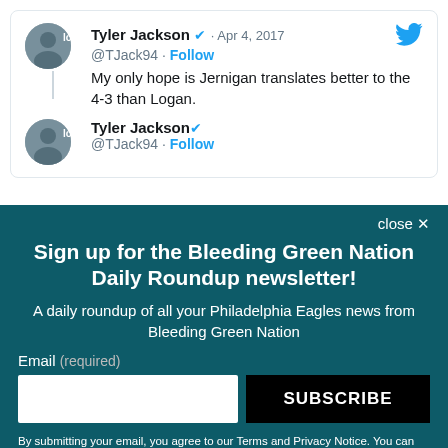Tyler Jackson @TJack94 · Apr 4, 2017 · Follow
My only hope is Jernigan translates better to the 4-3 than Logan.
Tyler Jackson @TJack94 · Follow
Sign up for the Bleeding Green Nation Daily Roundup newsletter!
A daily roundup of all your Philadelphia Eagles news from Bleeding Green Nation
Email (required)
SUBSCRIBE
By submitting your email, you agree to our Terms and Privacy Notice. You can opt out at any time. This site is protected by reCAPTCHA and the Google Privacy Policy and Terms of Service apply.